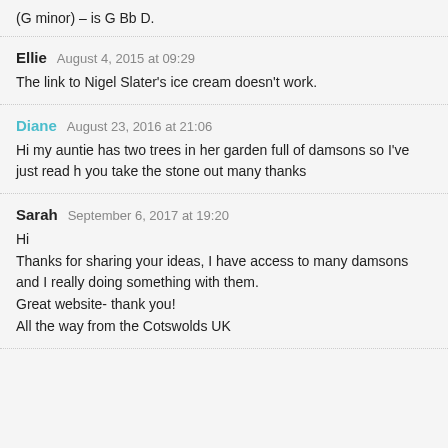(G minor) – is G Bb D.
Ellie   August 4, 2015 at 09:29
The link to Nigel Slater's ice cream doesn't work.
Diane   August 23, 2016 at 21:06
Hi my auntie has two trees in her garden full of damsons so I've just read h you take the stone out many thanks
Sarah   September 6, 2017 at 19:20
Hi
Thanks for sharing your ideas, I have access to many damsons and I really doing something with them.
Great website- thank you!
All the way from the Cotswolds UK